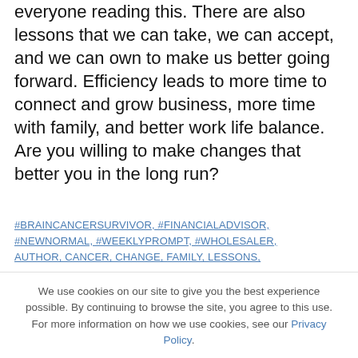everyone reading this. There are also lessons that we can take, we can accept, and we can own to make us better going forward. Efficiency leads to more time to connect and grow business, more time with family, and better work life balance. Are you willing to make changes that better you in the long run?
#BRAINCANCERSURVIVOR, #FINANCIALADVISOR, #NEWNORMAL, #WEEKLYPROMPT, #WHOLESALER, AUTHOR, CANCER, CHANGE, FAMILY, LESSONS,
We use cookies on our site to give you the best experience possible. By continuing to browse the site, you agree to this use. For more information on how we use cookies, see our Privacy Policy.